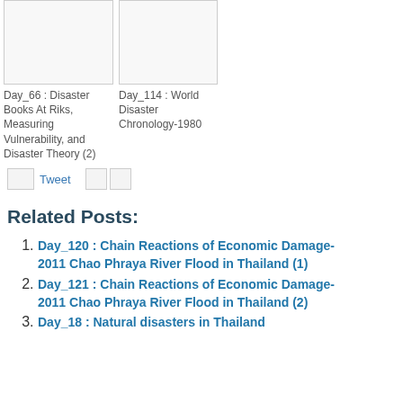[Figure (illustration): Thumbnail image placeholder for Day_66 book]
Day_66 : Disaster Books At Riks, Measuring Vulnerability, and Disaster Theory (2)
[Figure (illustration): Thumbnail image placeholder for Day_114 book]
Day_114 : World Disaster Chronology-1980
Tweet
Related Posts:
Day_120 : Chain Reactions of Economic Damage- 2011 Chao Phraya River Flood in Thailand (1)
Day_121 : Chain Reactions of Economic Damage- 2011 Chao Phraya River Flood in Thailand (2)
Day_18 : Natural disasters in Thailand